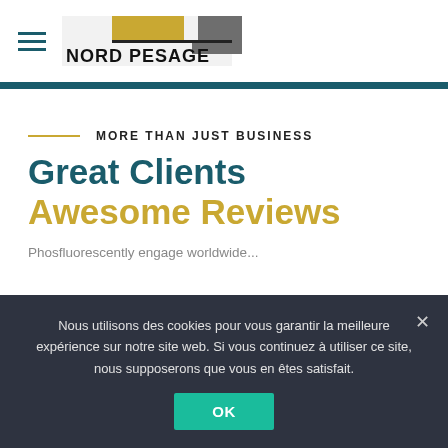Nord Pesage — navigation header with logo
MORE THAN JUST BUSINESS
Great Clients Awesome Reviews
Phosfluorescently engage worldwide...
Nous utilisons des cookies pour vous garantir la meilleure expérience sur notre site web. Si vous continuez à utiliser ce site, nous supposerons que vous en êtes satisfait.